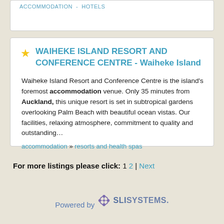ACCOMMODATION - HOTELS
WAIHEKE ISLAND RESORT AND CONFERENCE CENTRE - Waiheke Island
Waiheke Island Resort and Conference Centre is the island's foremost accommodation venue. Only 35 minutes from Auckland, this unique resort is set in subtropical gardens overlooking Palm Beach with beautiful ocean vistas. Our facilities, relaxing atmosphere, commitment to quality and outstanding…
accommodation » resorts and health spas
For more listings please click: 1 2 | Next
[Figure (logo): Powered by SLI Systems logo]